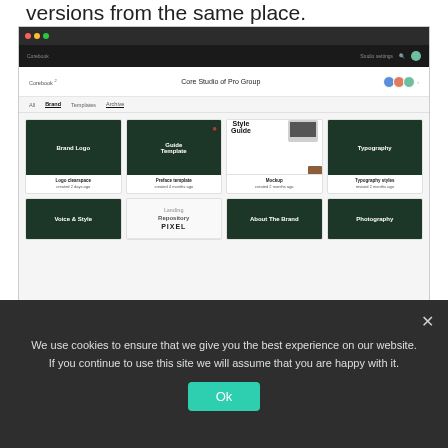versions from the same place.
[Figure (screenshot): Corebook app screenshot showing brand asset library with grid of items: Brand Logo, Guide Template, Style Guide (Mockup), Typography in top row, and Voice & Style, Landing Repository, About The Brand, Photography in bottom row]
Janis: With Corebook, we want to be the centre point of all your brand assets by replacing the Dropbox folder.
We use cookies to ensure that we give you the best experience on our website. If you continue to use this site we will assume that you are happy with it.